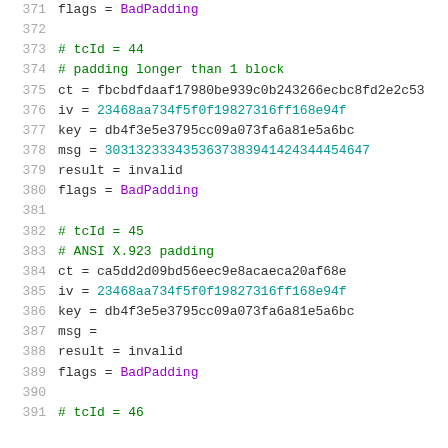Code listing lines 371-391 showing test case definitions for AES CBC decryption with bad padding test vectors.